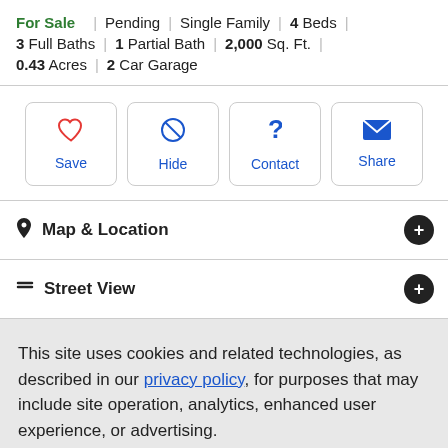For Sale | Pending | Single Family | 4 Beds | 3 Full Baths | 1 Partial Bath | 2,000 Sq. Ft. | 0.43 Acres | 2 Car Garage
[Figure (other): Action buttons: Save (heart icon), Hide (block icon), Contact (question mark), Share (envelope icon)]
Map & Location
Street View
This site uses cookies and related technologies, as described in our privacy policy, for purposes that may include site operation, analytics, enhanced user experience, or advertising.
Manage Preferences | Accept